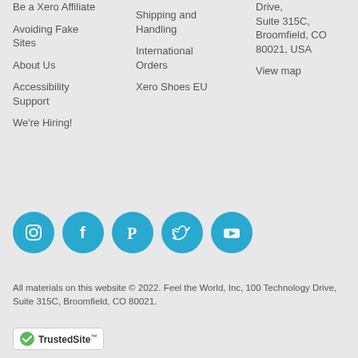Be a Xero Affiliate
Avoiding Fake Sites
About Us
Accessibility Support
We're Hiring!
Shipping and Handling
International Orders
Xero Shoes EU
Drive,
Suite 315C,
Broomfield, CO 80021, USA
View map
[Figure (infographic): Five blue circular social media icons: Instagram, Facebook, Pinterest, Twitter, YouTube]
All materials on this website © 2022. Feel the World, Inc, 100 Technology Drive, Suite 315C, Broomfield, CO 80021.
[Figure (logo): TrustedSite badge with green checkmark]